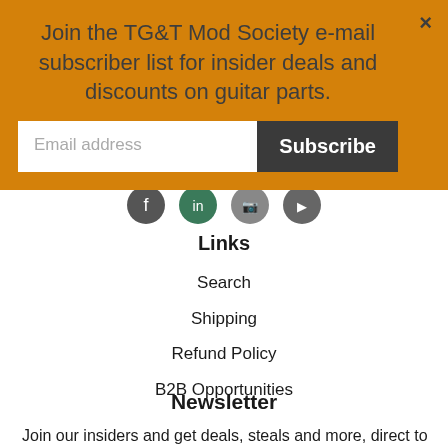Join the TG&T Mod Society e-mail subscriber list for insider deals and discounts on guitar parts.
[Figure (screenshot): Email subscription input field with placeholder text 'Email address' and a dark Subscribe button]
[Figure (infographic): Social media icons row: Facebook, LinkedIn, Instagram, YouTube]
Links
Search
Shipping
Refund Policy
B2B Opportunities
Newsletter
Join our insiders and get deals, steals and more, direct to your